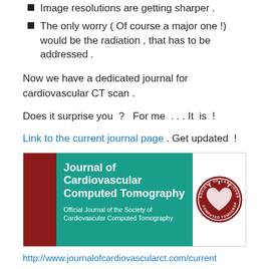Image resolutions are getting sharper .
The only worry ( Of course a major one !)  would be the radiation , that has to be addressed .
Now we have a dedicated journal for cardiovascular CT scan .
Does it surprise you  ?   For me  . . . It  is  !
Link to the current journal page . Get updated  !
[Figure (illustration): Banner image for Journal of Cardiovascular Computed Tomography, Official Journal of the Society of Cardiovascular Computed Tomography, with society badge logo on the right.]
http://www.journalofcardiovascularct.com/current